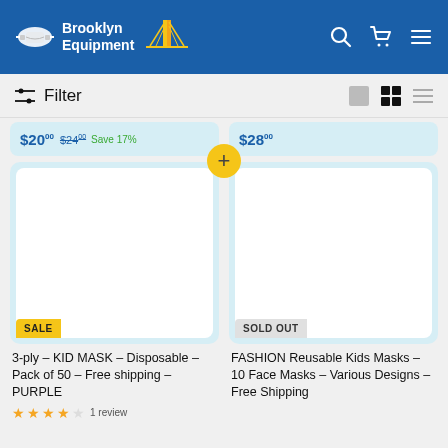Brooklyn Equipment
$20.00 $24.00 Save 17%
$28.00
[Figure (screenshot): Product card for 3-ply KID MASK with SALE badge and white product image area]
3-ply - KID MASK - Disposable - Pack of 50 - Free shipping - PURPLE
1 review (star rating 4/5)
[Figure (screenshot): Product card for FASHION Reusable Kids Masks with SOLD OUT badge and white product image area]
FASHION Reusable Kids Masks - 10 Face Masks - Various Designs - Free Shipping